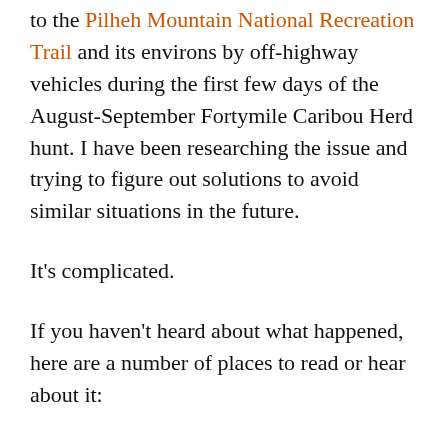to the Pilheh Mountain National Recreation Trail and its environs by off-highway vehicles during the first few days of the August-September Fortymile Caribou Herd hunt. I have been researching the issue and trying to figure out solutions to avoid similar situations in the future.
It's complicated.
If you haven't heard about what happened, here are a number of places to read or hear about it:
Interior Trails Newsletter story
KUAC